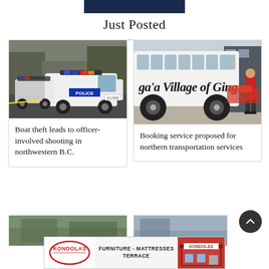[Figure (photo): Dark blue banner at top of page, partial news website header]
Just Posted
[Figure (photo): RCMP/Police SUV with lights on at a scene in northwestern B.C.]
Boat theft leads to officer-involved shooting in northwestern B.C.
[Figure (photo): White bus with text 'ga'a Village of Gingolx' and a man in red shirt standing beside it]
Booking service proposed for northern transportation services
[Figure (photo): Partial view of another news article image at bottom left]
[Figure (photo): Partial view of another news article image at bottom right]
[Figure (logo): Kondolas Furniture advertisement banner - FURNITURE - MATTRESSES TERRACE]